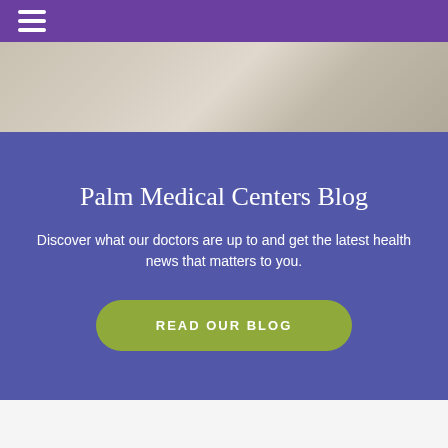☰
[Figure (photo): Partial photo showing a blurred medical or office setting in muted beige and gray tones]
Palm Medical Centers Blog
Discover what our doctors are up to and get the latest health news that matters to you.
READ OUR BLOG